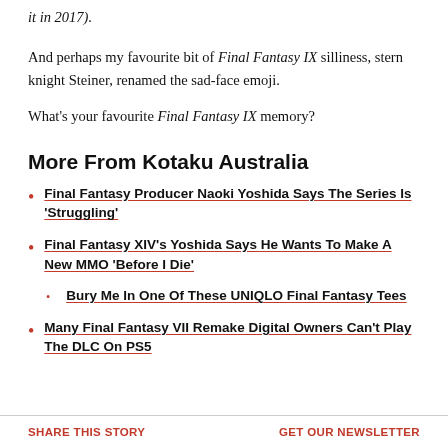it in 2017).
And perhaps my favourite bit of Final Fantasy IX silliness, stern knight Steiner, renamed the sad-face emoji.
What's your favourite Final Fantasy IX memory?
More From Kotaku Australia
Final Fantasy Producer Naoki Yoshida Says The Series Is 'Struggling'
Final Fantasy XIV's Yoshida Says He Wants To Make A New MMO 'Before I Die'
Bury Me In One Of These UNIQLO Final Fantasy Tees
Many Final Fantasy VII Remake Digital Owners Can't Play The DLC On PS5
SHARE THIS STORY    GET OUR NEWSLETTER